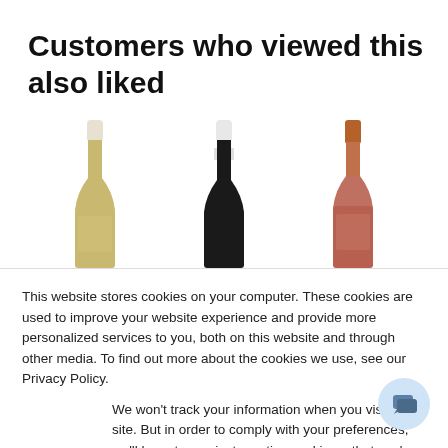Customers who viewed this also liked
[Figure (illustration): Three wine bottles shown from the neck up: left bottle with white/cream capsule (white wine), center bottle with white capsule (dark bottle, likely red wine), right bottle with copper/terracotta capsule (rosé wine)]
This website stores cookies on your computer. These cookies are used to improve your website experience and provide more personalized services to you, both on this website and through other media. To find out more about the cookies we use, see our Privacy Policy.
We won't track your information when you visit our site. But in order to comply with your preferences, we'll have to use just one tiny cookie so that you're not asked to make this choice again.
Accept  Decline